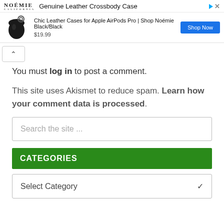[Figure (screenshot): Advertisement banner for Noémie Genuine Leather Crossbody Case showing AirPods Pro case product with $19.99 price and Shop Now button]
You must log in to post a comment.
This site uses Akismet to reduce spam. Learn how your comment data is processed.
Search the site ...
CATEGORIES
Select Category